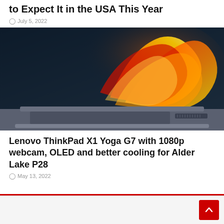to Expect It in the USA This Year
July 5, 2022
[Figure (photo): Lenovo ThinkPad X1 Yoga laptop open with colorful abstract wallpaper on OLED screen, shown at an angle on a white background]
Lenovo ThinkPad X1 Yoga G7 with 1080p webcam, OLED and better cooling for Alder Lake P28
May 13, 2022